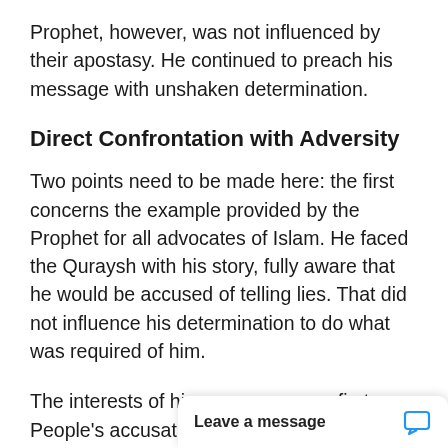Prophet, however, was not influenced by their apostasy. He continued to preach his message with unshaken determination.
Direct Confrontation with Adversity
Two points need to be made here: the first concerns the example provided by the Prophet for all advocates of Islam. He faced the Quraysh with his story, fully aware that he would be accused of telling lies. That did not influence his determination to do what was required of him.
The interests of his message came first. People’s accusations could not weaken his resolve.
The point is that idea of revelation